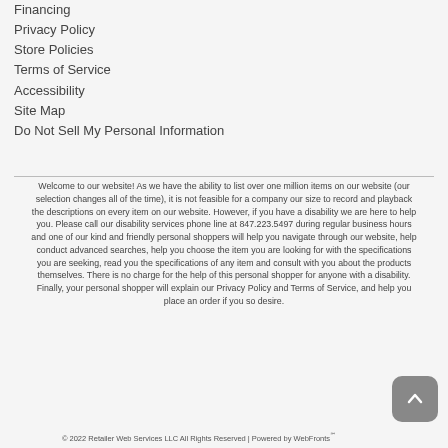Financing
Privacy Policy
Store Policies
Terms of Service
Accessibility
Site Map
Do Not Sell My Personal Information
Welcome to our website! As we have the ability to list over one million items on our website (our selection changes all of the time), it is not feasible for a company our size to record and playback the descriptions on every item on our website. However, if you have a disability we are here to help you. Please call our disability services phone line at 847.223.5497 during regular business hours and one of our kind and friendly personal shoppers will help you navigate through our website, help conduct advanced searches, help you choose the item you are looking for with the specifications you are seeking, read you the specifications of any item and consult with you about the products themselves. There is no charge for the help of this personal shopper for anyone with a disability. Finally, your personal shopper will explain our Privacy Policy and Terms of Service, and help you place an order if you so desire.
© 2022 Retailer Web Services LLC All Rights Reserved | Powered by WebFronts℠